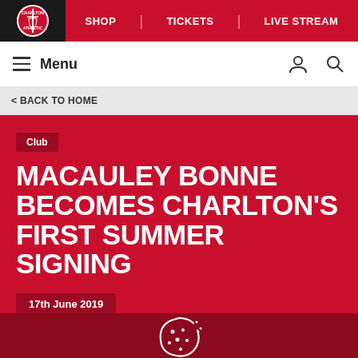[Figure (logo): Charlton Athletic FC circular logo on dark background]
SHOP | TICKETS | LIVE STREAM
Menu
< BACK TO HOME
Club
MACAULEY BONNE BECOMES CHARLTON'S FIRST SUMMER SIGNING
17th June 2019
[Figure (illustration): Cookie/biscuit icon in white outline style]